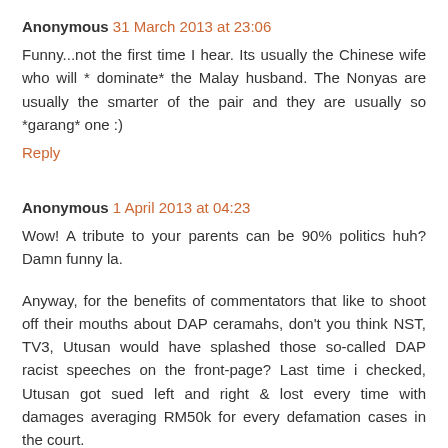Anonymous 31 March 2013 at 23:06
Funny...not the first time I hear. Its usually the Chinese wife who will * dominate* the Malay husband. The Nonyas are usually the smarter of the pair and they are usually so *garang* one :)
Reply
Anonymous 1 April 2013 at 04:23
Wow! A tribute to your parents can be 90% politics huh? Damn funny la.
Anyway, for the benefits of commentators that like to shoot off their mouths about DAP ceramahs, don't you think NST, TV3, Utusan would have splashed those so-called DAP racist speeches on the front-page? Last time i checked, Utusan got sued left and right & lost every time with damages averaging RM50k for every defamation cases in the court.